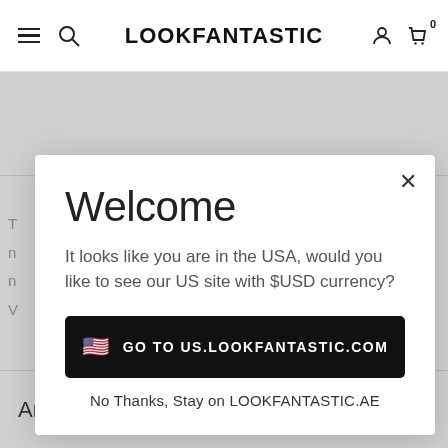LOOKFANTASTIC
Welcome
It looks like you are in the USA, would you like to see our US site with $USD currency?
GO TO US.LOOKFANTASTIC.COM
No Thanks, Stay on LOOKFANTASTIC.AE
Amazing ★★★★★